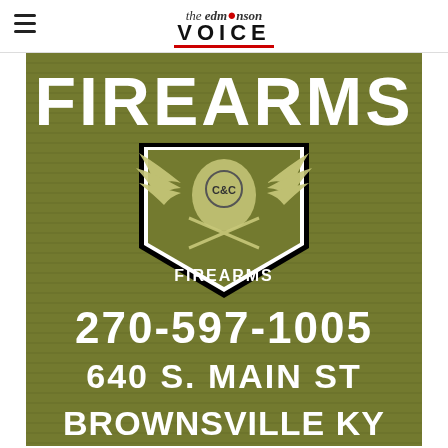the Edmonson Voice
[Figure (logo): C&C Firearms advertisement on olive/army-green wood-panel background. Text reads: FIREARMS (top), C&C Firearms logo/badge (eagle with crossed rifles), 270-597-1005, 640 S. MAIN ST, BROWNSVILLE KY]